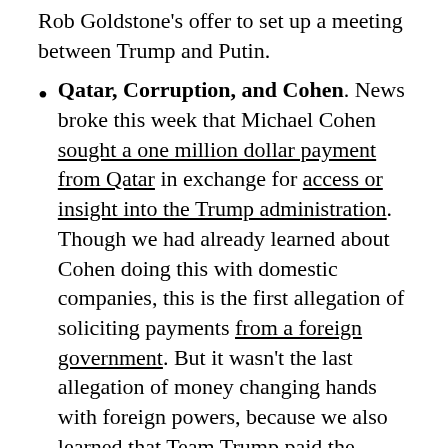Rob Goldstone's offer to set up a meeting between Trump and Putin.
Qatar, Corruption, and Cohen. News broke this week that Michael Cohen sought a one million dollar payment from Qatar in exchange for access or insight into the Trump administration. Though we had already learned about Cohen doing this with domestic companies, this is the first allegation of soliciting payments from a foreign government. But it wasn't the last allegation of money changing hands with foreign powers, because we also learned that Team Trump paid the United Arab Emirates and Saudi Arabia for assistance shortly after the 2016 election, which is definitely illegal if it related to the election